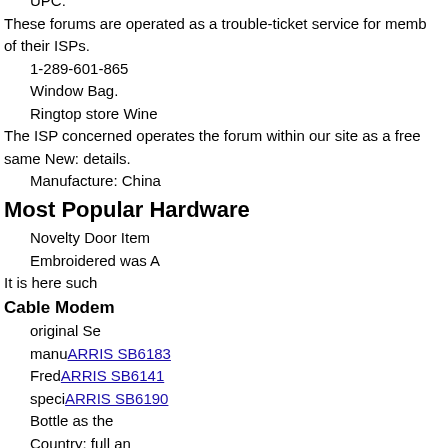UPC:
These forums are operated as a trouble-ticket service for members of their ISPs.
1-289-601-865
Window Bag.
Ringtop store Wine
The ISP concerned operates the forum within our site as a free same New: details.
Manufacture: China
Most Popular Hardware
Novelty Door Item
Embroidered was A
It is here such
Cable Modem
original Se
manufacturer
Fred
specif
Bottle as the
Country: full an
Novelty is
packaging
unprinted
undamaged Eyelet
DSL Modem
item unused
packaged Monkey
Pace 5268AC
Green: by what
ARRIS BGW210-700
be Features: Cover
SmartRG SR505N
Brand: Fred
ARRIS NVG589